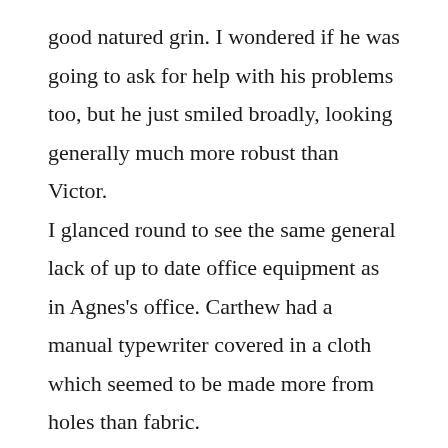good natured grin. I wondered if he was going to ask for help with his problems too, but he just smiled broadly, looking generally much more robust than Victor.
I glanced round to see the same general lack of up to date office equipment as in Agnes's office. Carthew had a manual typewriter covered in a cloth which seemed to be made more from holes than fabric.
I saw scraps of paper on the tables, covered in graffiti like the shorthand books downstairs, but numerical rather than verbal this time. Giant sums in pencil wound up and down as if part of some endless games of snakes and